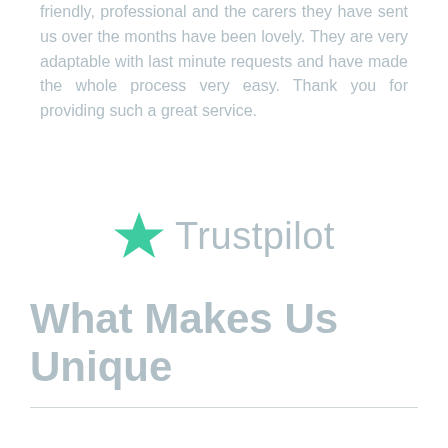friendly, professional and the carers they have sent us over the months have been lovely. They are very adaptable with last minute requests and have made the whole process very easy. Thank you for providing such a great service.
[Figure (logo): Trustpilot logo with a green star and grey 'Trustpilot' text]
What Makes Us Unique